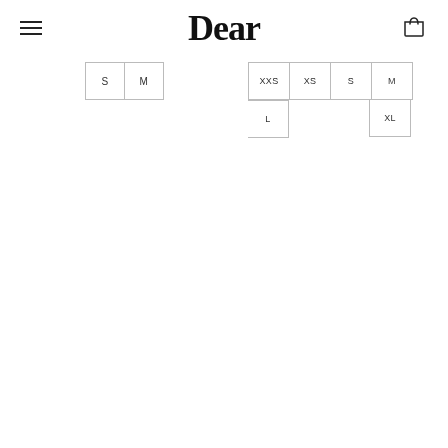Dear
S  M
XXS  XS  S  M  L  XL